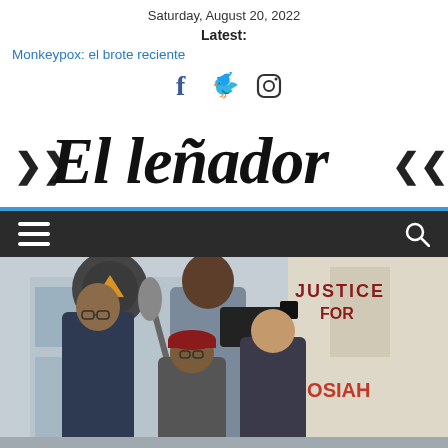Saturday, August 20, 2022
Latest:
Monkeypox: el brote reciente
[Figure (illustration): Social media icons: Facebook (f), Twitter (bird), Instagram (camera outline)]
El leñador
[Figure (illustration): Navigation bar with hamburger menu icon on left and search icon on right, dark background]
[Figure (photo): Four young people outdoors with video camera equipment in front of a banner reading JUSTICE FOR JOSIAH]